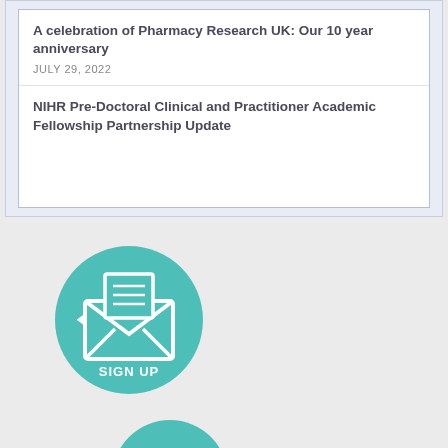A celebration of Pharmacy Research UK: Our 10 year anniversary
JULY 29, 2022
NIHR Pre-Doctoral Clinical and Practitioner Academic Fellowship Partnership Update
[Figure (illustration): Teal circular button with white envelope/letter icon and text SIGN UP]
[Figure (illustration): Partially visible teal circular button at bottom of page]